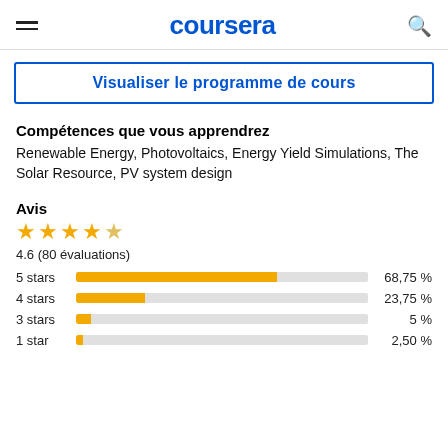coursera
Visualiser le programme de cours
Compétences que vous apprendrez
Renewable Energy, Photovoltaics, Energy Yield Simulations, The Solar Resource, PV system design
Avis
[Figure (bar-chart): Avis ratings]